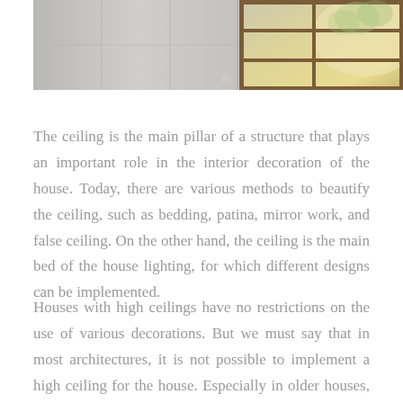[Figure (photo): Interior photo showing a ceiling and room space with a large window with wooden frames on the right side, letting in natural light through trees outside. The left portion shows a light-colored interior wall or ceiling surface.]
The ceiling is the main pillar of a structure that plays an important role in the interior decoration of the house. Today, there are various methods to beautify the ceiling, such as bedding, patina, mirror work, and false ceiling. On the other hand, the ceiling is the main bed of the house lighting, for which different designs can be implemented.
Houses with high ceilings have no restrictions on the use of various decorations. But we must say that in most architectures, it is not possible to implement a high ceiling for the house. Especially in older houses, which were often built with short